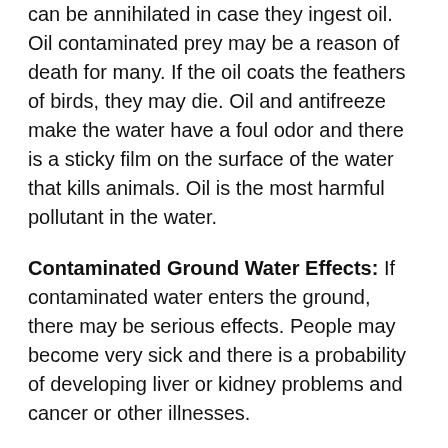can be annihilated in case they ingest oil. Oil contaminated prey may be a reason of death for many. If the oil coats the feathers of birds, they may die. Oil and antifreeze make the water have a foul odor and there is a sticky film on the surface of the water that kills animals. Oil is the most harmful pollutant in the water.
Contaminated Ground Water Effects: If contaminated water enters the ground, there may be serious effects. People may become very sick and there is a probability of developing liver or kidney problems and cancer or other illnesses.
Fertilizers and other chemicals: Nitrates in drinking water leads to diseases of infants that may lead to their death. Cadmium is a metal in sludge-derived fertilizer. This can be absorbed by crops. When